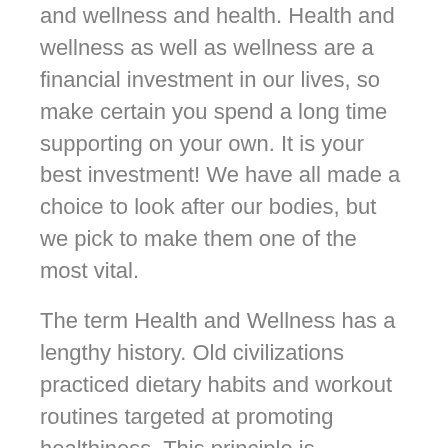and wellness and health. Health and wellness as well as wellness are a financial investment in our lives, so make certain you spend a long time supporting on your own. It is your best investment! We have all made a choice to look after our bodies, but we pick to make them one of the most vital.
The term Health and Wellness has a lengthy history. Old civilizations practiced dietary habits and workout routines targeted at promoting healthiness. This principle is additionally part of the origins of modern medication. Hippocrates, the dad of contemporary medication, is credited with promoting the concept of a healthy body. His focus on a holistic technique is the foundation of practical medication. By embracing health and wellness holistically, the focus gets on prevention.
Physical fitness and nutrition are key elements of...